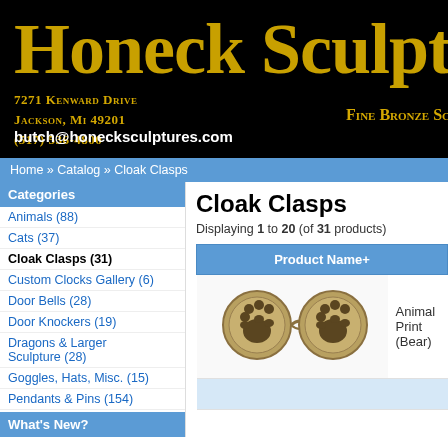[Figure (logo): Honeck Sculptures company banner with gold text on black background, address 7271 Kenward Drive, Jackson, MI 49201, (517) 536-4800, butch@honecksculptures.com, Fine Bronze Scu...]
Home » Catalog » Cloak Clasps
Categories
Animals (88)
Cats (37)
Cloak Clasps (31)
Custom Clocks Gallery (6)
Door Bells (28)
Door Knockers (19)
Dragons & Larger Sculpture (28)
Goggles, Hats, Misc. (15)
Pendants & Pins (154)
What's New?
Cloak Clasps
Displaying 1 to 20 (of 31 products)
| Product Name+ |
| --- |
| Animal Print (Bear) |
|  |
[Figure (photo): Bronze bear paw print cloak clasp with two circular medallions connected by a chain, shown on white background]